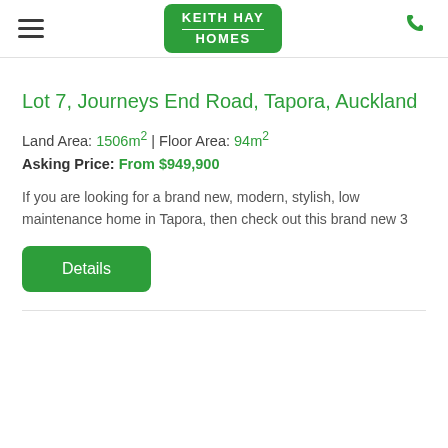Keith Hay Homes
Lot 7, Journeys End Road, Tapora, Auckland
Land Area: 1506m² | Floor Area: 94m²
Asking Price: From $949,900
If you are looking for a brand new, modern, stylish, low maintenance home in Tapora, then check out this brand new 3
Details